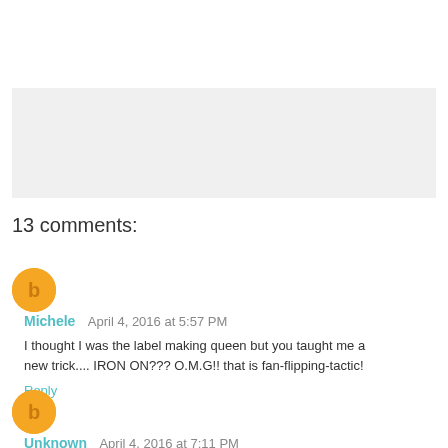[Figure (other): Gray banner/advertisement placeholder bar]
13 comments:
Michele  April 4, 2016 at 5:57 PM
I thought I was the label making queen but you taught me a new trick.... IRON ON??? O.M.G!! that is fan-flipping-tactic!
Reply
Unknown  April 4, 2016 at 7:11 PM
These are some great ideas for using a label maker! I am definitely going to think about getting one!
Reply